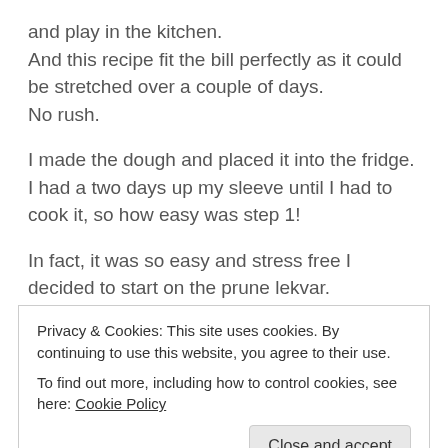and play in the kitchen.
And this recipe fit the bill perfectly as it could be stretched over a couple of days.
No rush.
I made the dough and placed it into the fridge.
I had a two days up my sleeve until I had to cook it, so how easy was step 1!
In fact, it was so easy and stress free I decided to start on the prune lekvar.
(The prune lekvar is made with walnuts while the apricot lekvar has almonds. Two of my children are allergic to
Privacy & Cookies: This site uses cookies. By continuing to use this website, you agree to their use.
To find out more, including how to control cookies, see here: Cookie Policy
kayak and the kid's various boards.